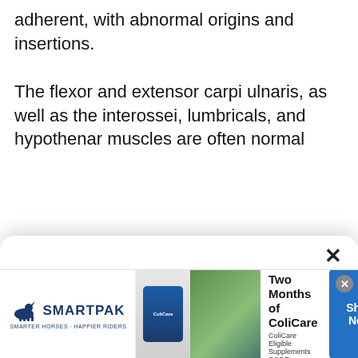adherent, with abnormal origins and insertions.
The flexor and extensor carpi ulnaris, as well as the interossei, lumbricals, and hypothenar muscles are often normal
The site uses cookies. Please accept cookies for a better visiting experience.
ACCEPT
Policies
the absence of the radial nerve by supplying a
[Figure (screenshot): SmartPak advertisement banner: 50% Off Two Months of ColiCare, ColiCare Eligible Supplements, CODE: COLICARE10, Shop Now button]